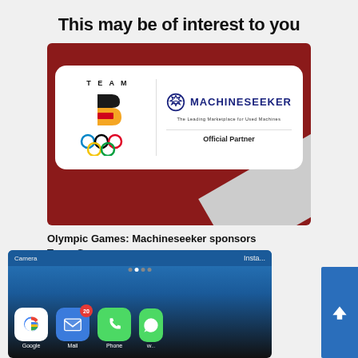This may be of interest to you
[Figure (photo): Team Germany Olympic logo alongside Machineseeker logo on a card overlay, set against a red sports background. Card shows 'TEAM' text, stylized D logo in black/gold/red, Olympic rings, Machineseeker gear logo, and 'Official Partner' text.]
Olympic Games: Machineseeker sponsors Team Germany
[Figure (photo): Close-up of a smartphone screen showing app icons: Google, Mail (with badge showing '20'), Phone, and a partially visible WhatsApp icon. The top of the screen shows 'Camera' text and dots indicator.]